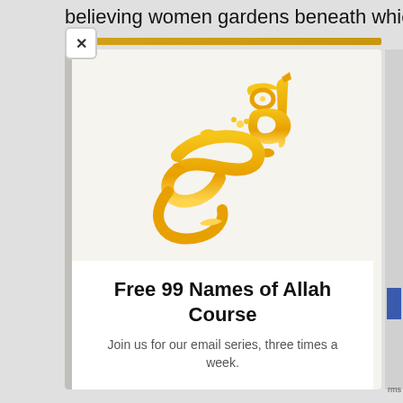believing women gardens beneath which
[Figure (illustration): Arabic calligraphy of 'Al-Rahman' (The Most Gracious) in golden/orange color on light beige background]
Free 99 Names of Allah Course
Join us for our email series, three times a week.